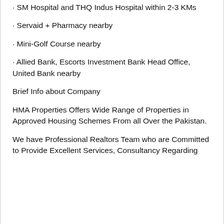· SM Hospital and THQ Indus Hospital within 2-3 KM
· Servaid + Pharmacy nearby
· Mini-Golf Course nearby
· Allied Bank, Escorts Investment Bank Head Office, United Bank nearby
Brief Info about Company
HMA Properties Offers Wide Range of Properties in Approved Housing Schemes From all Over the Pakistan.
We have Professional Realtors Team who are Committed to Provide Excellent Services, Consultancy Regarding